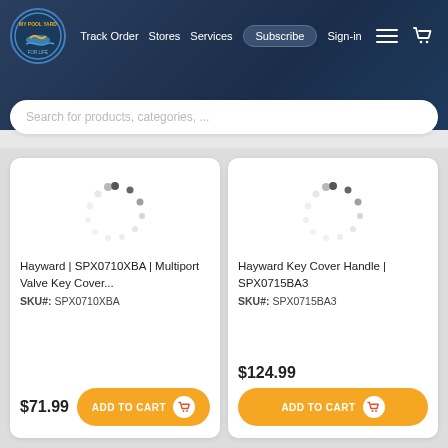My Pool Yard — Track Order | Stores | Services | Subscribe | Sign-in
Search for products, categories, ...
Hayward | SPX0710XBA | Multiport Valve Key Cover...
SKU#: SPX0710XBA
$71.99
ADD TO CART
Hayward Key Cover Handle | SPX0715BA3
SKU#: SPX0715BA3
$124.99
ADD TO CART